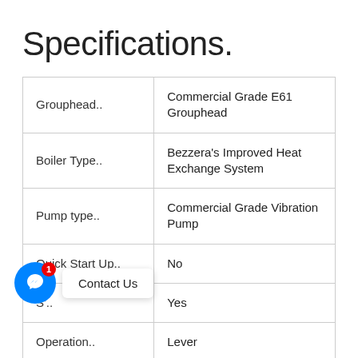Specifications.
| Grouphead.. | Commercial Grade E61 Grouphead |
| Boiler Type.. | Bezzera's Improved Heat Exchange System |
| Pump type.. | Commercial Grade Vibration Pump |
| Quick Start Up.. | No |
| [S'..] (partially obscured) | Yes |
| Operation.. | Lever |